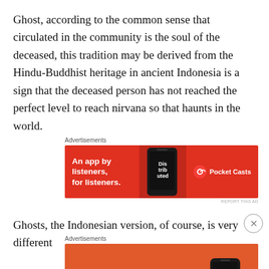Ghost, according to the common sense that circulated in the community is the soul of the deceased, this tradition may be derived from the Hindu-Buddhist heritage in ancient Indonesia is a sign that the deceased person has not reached the perfect level to reach nirvana so that haunts in the world.
[Figure (other): Pocket Casts advertisement banner: red background with text 'An app by listeners, for listeners.' and Pocket Casts logo with a phone graphic]
Ghosts, the Indonesian version, of course, is very different
[Figure (other): DuckDuckGo advertisement banner: orange background with text 'Search, browse, and email with more privacy. All in One Free App' and DuckDuckGo logo on phone graphic]